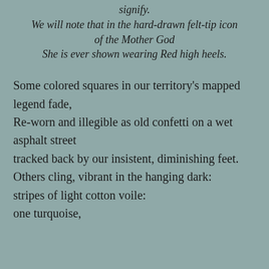signify.
We will note that in the hard-drawn felt-tip icon of the Mother God
She is ever shown wearing Red high heels.
Some colored squares in our territory's mapped legend fade,
Re-worn and illegible as old confetti on a wet asphalt street
tracked back by our insistent, diminishing feet.
Others cling, vibrant in the hanging dark:
stripes of light cotton voile:
one turquoise,